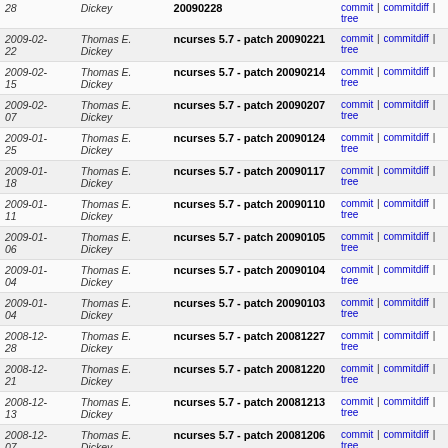| Date | Author | Commit message | Links |
| --- | --- | --- | --- |
| 28 | Dickey | 20090228 | commit | commitdiff | tree |
| 2009-02-22 | Thomas E. Dickey | ncurses 5.7 - patch 20090221 | commit | commitdiff | tree |
| 2009-02-15 | Thomas E. Dickey | ncurses 5.7 - patch 20090214 | commit | commitdiff | tree |
| 2009-02-07 | Thomas E. Dickey | ncurses 5.7 - patch 20090207 | commit | commitdiff | tree |
| 2009-01-25 | Thomas E. Dickey | ncurses 5.7 - patch 20090124 | commit | commitdiff | tree |
| 2009-01-18 | Thomas E. Dickey | ncurses 5.7 - patch 20090117 | commit | commitdiff | tree |
| 2009-01-11 | Thomas E. Dickey | ncurses 5.7 - patch 20090110 | commit | commitdiff | tree |
| 2009-01-06 | Thomas E. Dickey | ncurses 5.7 - patch 20090105 | commit | commitdiff | tree |
| 2009-01-04 | Thomas E. Dickey | ncurses 5.7 - patch 20090104 | commit | commitdiff | tree |
| 2009-01-04 | Thomas E. Dickey | ncurses 5.7 - patch 20090103 | commit | commitdiff | tree |
| 2008-12-28 | Thomas E. Dickey | ncurses 5.7 - patch 20081227 | commit | commitdiff | tree |
| 2008-12-21 | Thomas E. Dickey | ncurses 5.7 - patch 20081220 | commit | commitdiff | tree |
| 2008-12-13 | Thomas E. Dickey | ncurses 5.7 - patch 20081213 | commit | commitdiff | tree |
| 2008-12-07 | Thomas E. Dickey | ncurses 5.7 - patch 20081206 | commit | commitdiff | tree |